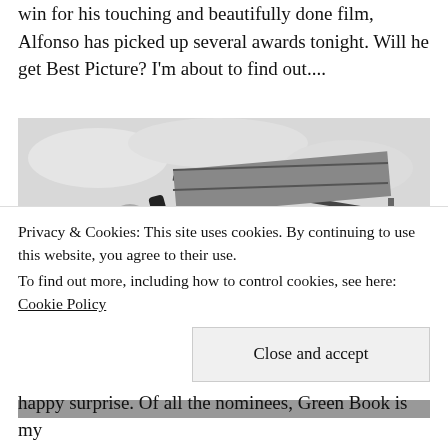win for his touching and beautifully done film, Alfonso has picked up several awards tonight. Will he get Best Picture? I'm about to find out....
[Figure (photo): Black and white photograph showing two people on a rooftop or terrace. A man on the left wearing a dark hoodie is holding up what appears to be a large flat panel or roof panel. A woman on the right is standing near what looks like a planter or raised garden bed. Buildings and utility poles are visible in the background.]
Privacy & Cookies: This site uses cookies. By continuing to use this website, you agree to their use.
To find out more, including how to control cookies, see here: Cookie Policy
happy surprise. Of all the nominees, Green Book is my